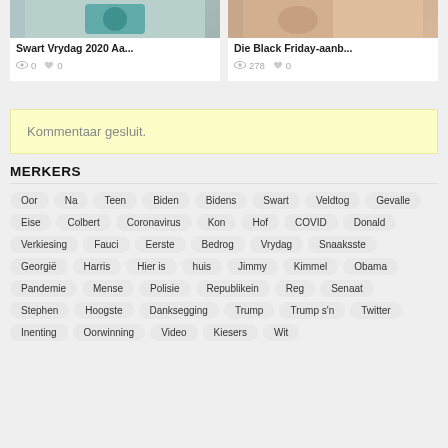[Figure (photo): Thumbnail image for Swart Vrydag 2020 article, showing a teal/blue object]
Swart Vrydag 2020 Aa...
0  0
[Figure (photo): Thumbnail image for Die Black Friday-aanb... article, showing a hand]
Die Black Friday-aanb...
278  0
Kommentaar gesluit.
MERKERS
Oor
Na
Teen
Biden
Bidens
Swart
Veldtog
Gevalle
Eise
Colbert
Coronavirus
Kon
Hof
COVID
Donald
Verkiesing
Fauci
Eerste
Bedrog
Vrydag
Snaaksste
Georgië
Harris
Hier is
huis
Jimmy
Kimmel
Obama
Pandemie
Mense
Polisie
Republikein
Reg
Senaat
Stephen
Hoogste
Danksegging
Trump
Trump s'n
Twitter
Inenting
Oorwinning
Video
Kiesers
Wit